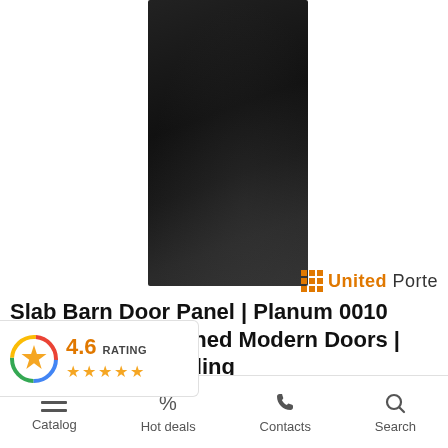[Figure (photo): Product photo of a dark matte black slab barn door panel against a white background. The door is tall and narrow with a smooth matte black finish. United Porte brand logo appears in bottom right of image area.]
Slab Barn Door Panel | Planum 0010 Matte Hardy Finished Modern Doors | Pocket Closet Sliding
[Figure (infographic): Rating badge showing 4.6 rating with star icons (4.5 stars filled) and the text RATING]
Catalog   Hot deals   Contacts   Search